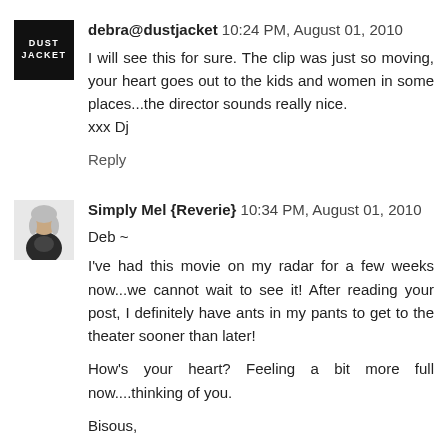[Figure (logo): Dust Jacket logo: black square with white text DUST JACKET]
debra@dustjacket 10:24 PM, August 01, 2010
I will see this for sure. The clip was just so moving, your heart goes out to the kids and women in some places...the director sounds really nice.
xxx Dj
Reply
[Figure (photo): Small avatar photo of Simply Mel, a woman in black clothing]
Simply Mel {Reverie} 10:34 PM, August 01, 2010
Deb ~
I've had this movie on my radar for a few weeks now...we cannot wait to see it! After reading your post, I definitely have ants in my pants to get to the theater sooner than later!
How's your heart? Feeling a bit more full now....thinking of you.
Bisous,